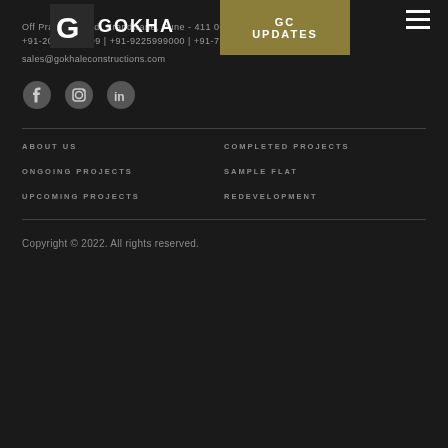Off Prabhat Road, Erandwane, Pune - 411 004
+91-20-25430999 | +91-9225999000 | +91-7350498999
sales@gokhaleconstructions.com
[Figure (logo): Social media icons: Facebook, Instagram, LinkedIn]
ABOUT US
COMPLETED PROJECTS
ONGOING PROJECTS
SAMPLE FLAT
UPCOMING PROJECTS
REDEVELOPMENT
Copyright © 2022. All rights reserved.